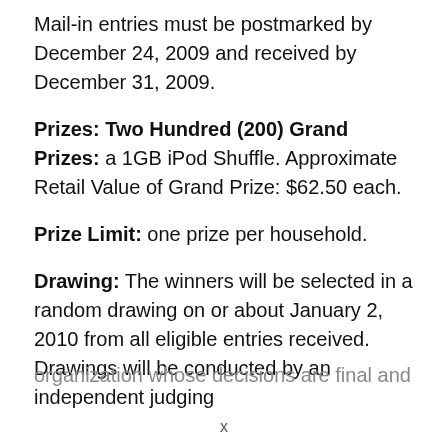Mail-in entries must be postmarked by December 24, 2009 and received by December 31, 2009.
Prizes: Two Hundred (200) Grand Prizes: a 1GB iPod Shuffle. Approximate Retail Value of Grand Prize: $62.50 each.
Prize Limit: one prize per household.
Drawing: The winners will be selected in a random drawing on or about January 2, 2010 from all eligible entries received. Drawings will be conducted by an independent judging organization whose decisions are final and...